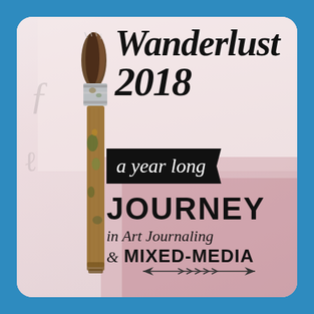[Figure (illustration): Promotional image for Wanderlust 2018 art journaling course. Blue bordered card with rounded corners. Background shows a textured pink/cream mixed-media art journal page with decorative floral patterns. A paint brush with a metallic ferrule and worn wooden handle is positioned on the left side. Text overlay reads: Wanderlust 2018, a year long JOURNEY in Art Journaling & MIXED-MEDIA, with decorative arrow flourish at bottom.]